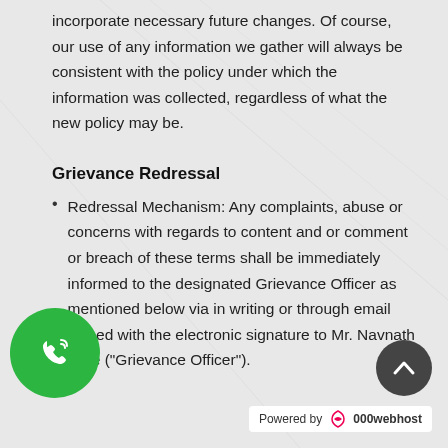incorporate necessary future changes. Of course, our use of any information we gather will always be consistent with the policy under which the information was collected, regardless of what the new policy may be.
Grievance Redressal
Redressal Mechanism: Any complaints, abuse or concerns with regards to content and or comment or breach of these terms shall be immediately informed to the designated Grievance Officer as mentioned below via in writing or through email signed with the electronic signature to Mr. Navnath sase ("Grievance Officer").
[Figure (illustration): Green circle phone/WhatsApp call icon button in bottom left corner]
[Figure (illustration): Dark circular up-arrow scroll-to-top button in bottom right]
Powered by 000webhost